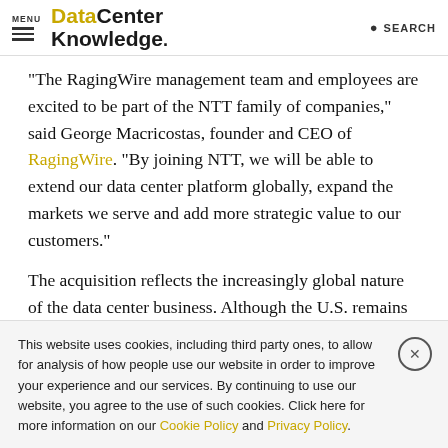MENU | DataCenter Knowledge. | SEARCH
"The RagingWire management team and employees are excited to be part of the NTT family of companies," said George Macricostas, founder and CEO of RagingWire. "By joining NTT, we will be able to extend our data center platform globally, expand the markets we serve and add more strategic value to our customers."
The acquisition reflects the increasingly global nature of the data center business. Although the U.S. remains the largest market for data center services, data center developers and
This website uses cookies, including third party ones, to allow for analysis of how people use our website in order to improve your experience and our services. By continuing to use our website, you agree to the use of such cookies. Click here for more information on our Cookie Policy and Privacy Policy.